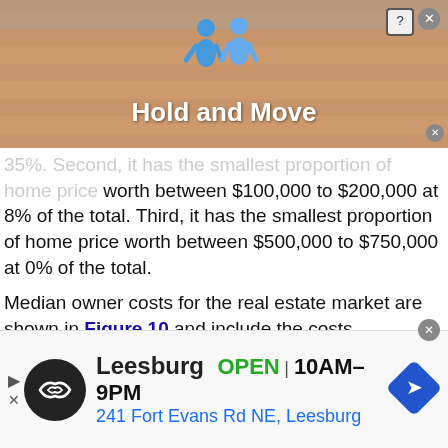[Figure (screenshot): Top advertisement banner with 'Hold and Move' title, blue cartoon figures icon, tan/brown striped background, help and close buttons]
35%. Second, it has the smallest proportion of home price worth between $100,000 to $200,000 at 8% of the total. Third, it has the smallest proportion of home price worth between $500,000 to $750,000 at 0% of the total.
Median owner costs for the real estate market are shown in Figure 10 and include the costs associated with any mortgage, utility expenses, insurance, and other miscellaneous costs. Johnson County shows it has a Median Owner Cost of $545 which is the second most of all the counties in the metropolitan area. Figure 11 shows the median amount of cost as a percent of total household income for people who own homes in the
[Figure (screenshot): Bottom advertisement banner for a store in Leesburg, showing OPEN 10AM-9PM, address 241 Fort Evans Rd NE, Leesburg, with logo and navigation icon]